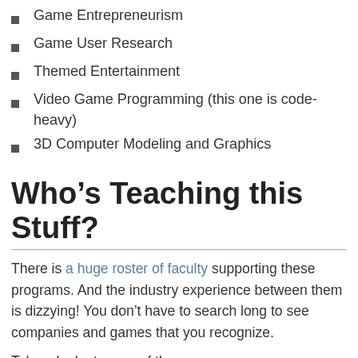Game Entrepreneurism
Game User Research
Themed Entertainment
Video Game Programming (this one is code-heavy)
3D Computer Modeling and Graphics
Who’s Teaching this Stuff?
There is a huge roster of faculty supporting these programs. And the industry experience between them is dizzying! You don’t have to search long to see companies and games that you recognize.
Take a look at some of these:
You Have Tracy Fullerton, for example, who wrote